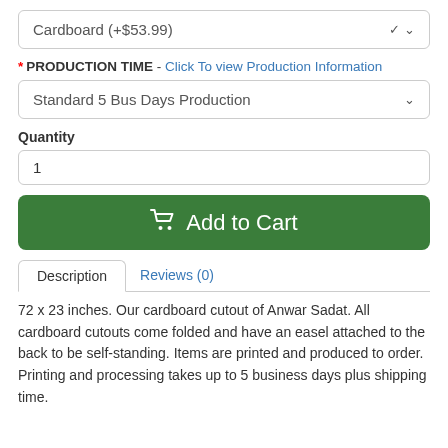Cardboard (+$53.99)
* PRODUCTION TIME - Click To view Production Information
Standard 5 Bus Days Production
Quantity
1
Add to Cart
Description
Reviews (0)
72 x 23 inches. Our cardboard cutout of Anwar Sadat. All cardboard cutouts come folded and have an easel attached to the back to be self-standing. Items are printed and produced to order. Printing and processing takes up to 5 business days plus shipping time.